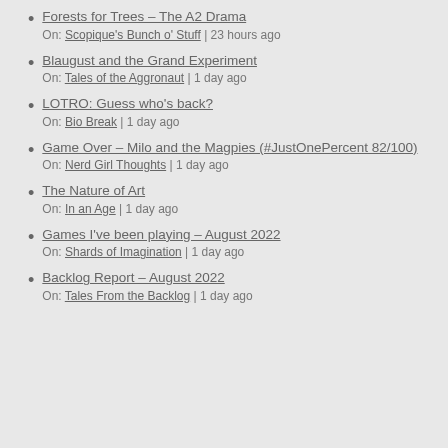Forests for Trees – The A2 Drama
On: Scopique's Bunch o' Stuff | 23 hours ago
Blaugust and the Grand Experiment
On: Tales of the Aggronaut | 1 day ago
LOTRO: Guess who's back?
On: Bio Break | 1 day ago
Game Over – Milo and the Magpies (#JustOnePercent 82/100)
On: Nerd Girl Thoughts | 1 day ago
The Nature of Art
On: In an Age | 1 day ago
Games I've been playing – August 2022
On: Shards of Imagination | 1 day ago
Backlog Report – August 2022
On: Tales From the Backlog | 1 day ago